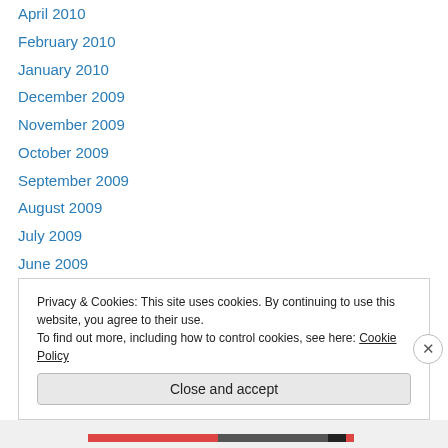April 2010
February 2010
January 2010
December 2009
November 2009
October 2009
September 2009
August 2009
July 2009
June 2009
May 2009
April 2009
March 2009
Privacy & Cookies: This site uses cookies. By continuing to use this website, you agree to their use.
To find out more, including how to control cookies, see here: Cookie Policy
Close and accept